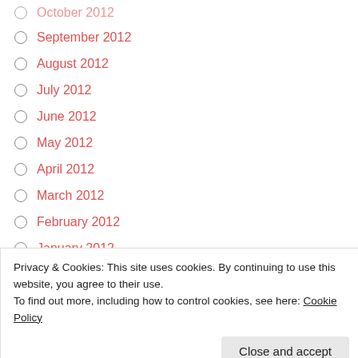October 2012
September 2012
August 2012
July 2012
June 2012
May 2012
April 2012
March 2012
February 2012
January 2012
December 2011
November 2011
October 2011
Privacy & Cookies: This site uses cookies. By continuing to use this website, you agree to their use.
To find out more, including how to control cookies, see here: Cookie Policy
April 2011